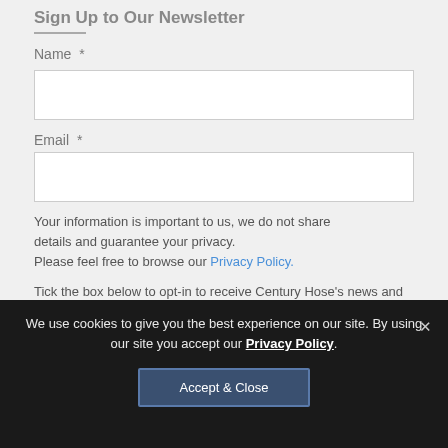Sign Up to Our Newsletter
Name  *
Email  *
Your information is important to us, we do not share details and guarantee your privacy. Please feel free to browse our Privacy Policy.
Tick the box below to opt-in to receive Century Hose's news and
We use cookies to give you the best experience on our site. By using our site you accept our Privacy Policy.
Accept & Close